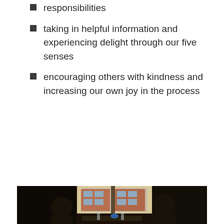responsibilities
taking in helpful information and experiencing delight through our five senses
encouraging others with kindness and increasing our own joy in the process
[Figure (photo): Two people sitting across from each other at a table in a dimly lit restaurant or cafe, silhouetted against a large window showing a brick building outside. Drinks and items are on the table between them.]